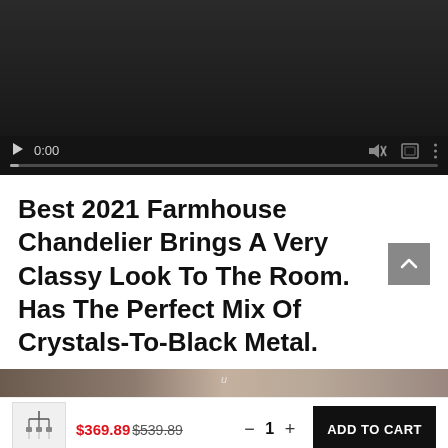[Figure (screenshot): Video player showing paused state at 0:00 with dark background, controls including play button, timestamp 0:00, mute icon, fullscreen icon, more options icon, and a progress bar at the bottom]
Best 2021 Farmhouse Chandelier Brings A Very Classy Look To The Room. Has The Perfect Mix Of Crystals-To-Black Metal.
[Figure (photo): Partial product image strip showing a chandelier in a room setting]
$369.89$539.89 — 1 + ADD TO CART